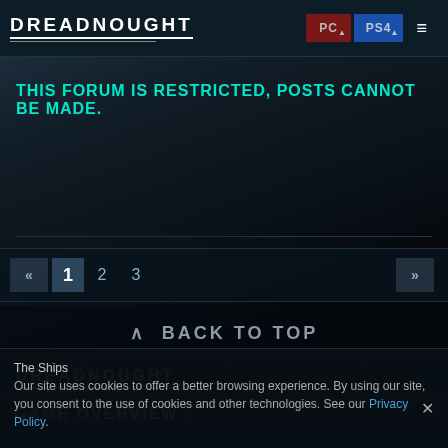DREADNOUGHT | PC | PS4 | Menu
THIS FORUM IS RESTRICTED, POSTS CANNOT BE MADE.
« 1 2 3 »
^ BACK TO TOP
[Figure (logo): DREADNOUGHT logo in white text with underline, on dark teal footer background]
GAME OVERVIEW >
The Ships
Our site uses cookies to offer a better browsing experience. By using our site, you consent to the use of cookies and other technologies. See our Privacy Policy.